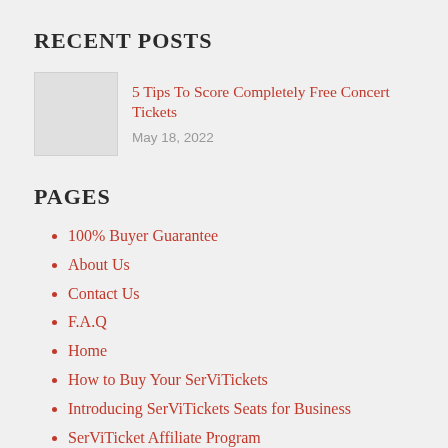RECENT POSTS
5 Tips To Score Completely Free Concert Tickets
May 18, 2022
PAGES
100% Buyer Guarantee
About Us
Contact Us
F.A.Q
Home
How to Buy Your SerViTickets
Introducing SerViTickets Seats for Business
SerViTicket Affiliate Program